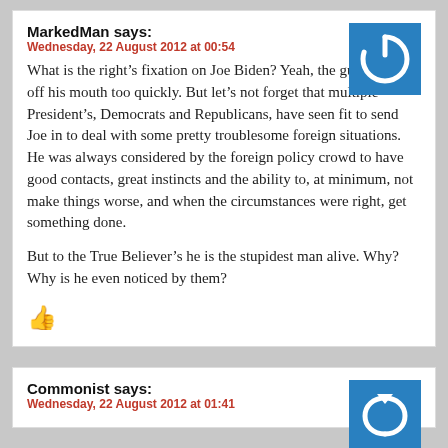MarkedMan says:
Wednesday, 22 August 2012 at 00:54
[Figure (logo): Blue square avatar with white power button icon]
What is the right’s fixation on Joe Biden? Yeah, the guy shoots off his mouth too quickly. But let’s not forget that multiple President’s, Democrats and Republicans, have seen fit to send Joe in to deal with some pretty troublesome foreign situations. He was always considered by the foreign policy crowd to have good contacts, great instincts and the ability to, at minimum, not make things worse, and when the circumstances were right, get something done.
But to the True Believer’s he is the stupidest man alive. Why? Why is he even noticed by them?
[Figure (illustration): Red thumbs up icon]
Commonist says:
Wednesday, 22 August 2012 at 01:41
[Figure (logo): Blue square avatar with white arrow/refresh icon]